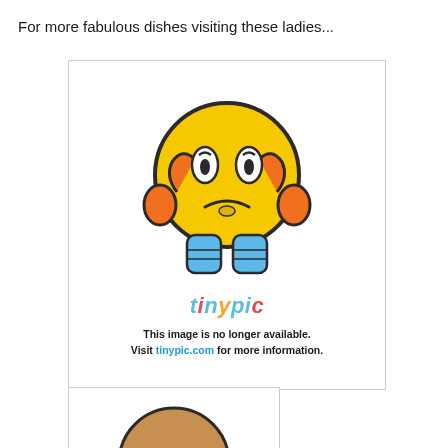For more fabulous dishes visiting these ladies...
[Figure (illustration): Tinypic.com 'image no longer available' placeholder showing a sad yellow smiley face emoji with hands on cheeks, the tinypic logo text in colorful letters, and text 'This image is no longer available. Visit tinypic.com for more information.']
[Figure (illustration): Partially visible second tinypic placeholder image cropped at bottom of page.]